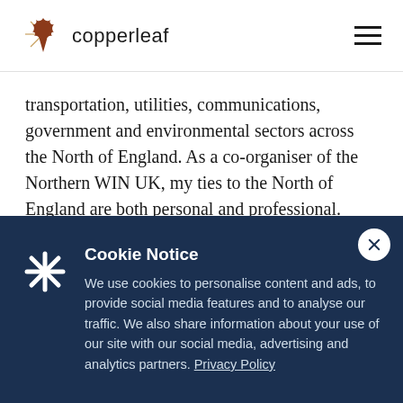copperleaf
transportation, utilities, communications, government and environmental sectors across the North of England. As a co-organiser of the Northern WIN UK, my ties to the North of England are both personal and professional.
On a personal level, I grew up in the North of England
Cookie Notice
We use cookies to personalise content and ads, to provide social media features and to analyse our traffic. We also share information about your use of our site with our social media, advertising and analytics partners. Privacy Policy